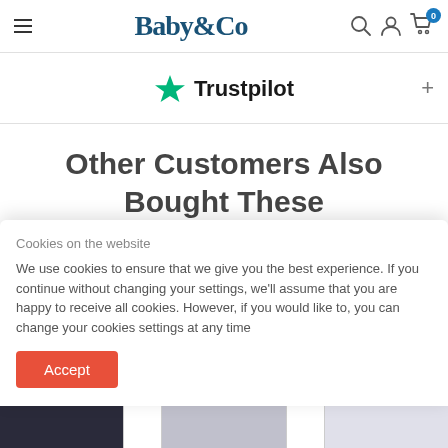Baby&Co
[Figure (logo): Trustpilot logo with green star and bold text 'Trustpilot']
Other Customers Also
Bought These
Cookies on the website
We use cookies to ensure that we give you the best experience. If you continue without changing your settings, we'll assume that you are happy to receive all cookies. However, if you would like to, you can change your cookies settings at any time
[Figure (photo): Product images partially visible at the bottom of the page (pram/stroller)]